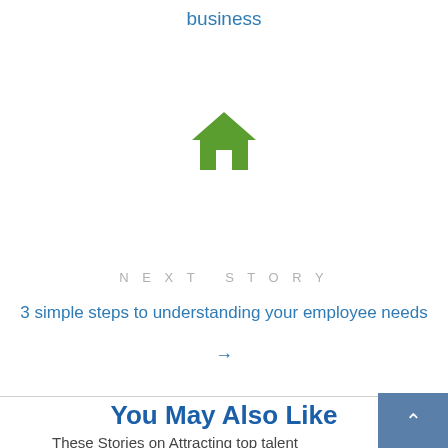business
[Figure (illustration): Green home/house icon]
NEXT STORY
3 simple steps to understanding your employee needs
→
You May Also Like
These Stories on Attracting top talent